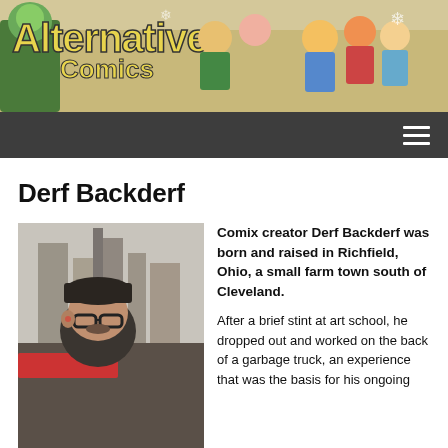[Figure (illustration): Alternative Comics banner with cartoon characters and logo text 'Alternative Comics' in yellow/green on colorful illustrated background]
Navigation bar with hamburger menu icon
Derf Backderf
[Figure (photo): Photo of Derf Backderf, a man wearing a dark cap and glasses, on a city street with tall buildings in background]
Comix creator Derf Backderf was born and raised in Richfield, Ohio, a small farm town south of Cleveland.
After a brief stint at art school, he dropped out and worked on the back of a garbage truck, an experience that was the basis for his ongoing